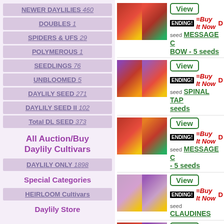NEWER DAYLILIES 460
DOUBLES 1
SPIDERS & UFS 29
POLYMEROUS 1
SEEDLINGS 76
UNBLOOMED 5
DAYLILY SEED 271
DAYLILY SEED II 102
Total DL SEED 373
All Auction/Buy Daylily Cultivars
DAYLILY ONLY 1898
Special Categories
HEIRLOOM Cultivars
Daylily Store
[Figure (photo): Daylily flower listing 1 - red/orange daylily photos]
View | ENDING! Buy It Now | seed MESSAGE C BOW - 5 seeds
[Figure (photo): Daylily flower listing 2 - pink/purple daylily photos]
View | ENDING! Buy It Now | seed SPINAL TAP seeds
[Figure (photo): Daylily flower listing 3 - red/orange daylily photos]
View | ENDING! Buy It Now | seed MESSAGE C - 5 seeds
[Figure (photo): Daylily flower listing 4 - lavender/pink daylily photos]
View | ENDING! Buy It Now | seed CLAUDINES
[Figure (photo): Daylily flower listing 5 - red and purple daylily photos]
View | ENDING! Buy It Now | seed MESSAGE C seeds
[Figure (photo): Daylily flower listing 6 - peach/gold daylily photo]